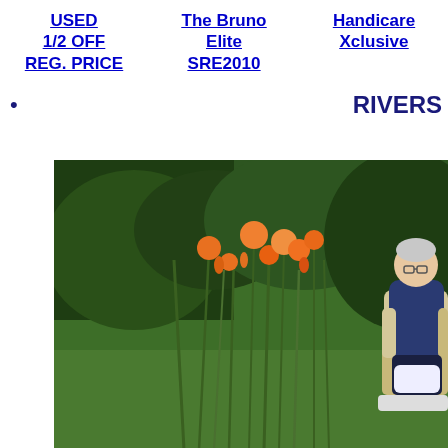USED 1/2 OFF REG. PRICE
The Bruno Elite SRE2010
Handicare Xclusive
•
RIVERS
[Figure (photo): Outdoor garden scene with orange day lilies and green foliage, with an elderly woman seated in a stairlift chair on the right side of the image.]